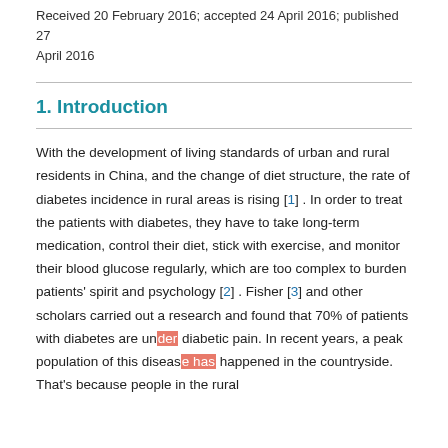Received 20 February 2016; accepted 24 April 2016; published 27 April 2016
1. Introduction
With the development of living standards of urban and rural residents in China, and the change of diet structure, the rate of diabetes incidence in rural areas is rising [1] . In order to treat the patients with diabetes, they have to take long-term medication, control their diet, stick with exercise, and monitor their blood glucose regularly, which are too complex to burden patients' spirit and psychology [2] . Fisher [3] and other scholars carried out a research and found that 70% of patients with diabetes are under diabetic pain. In recent years, a peak population of this disease has happened in the countryside. That's because people in the rural